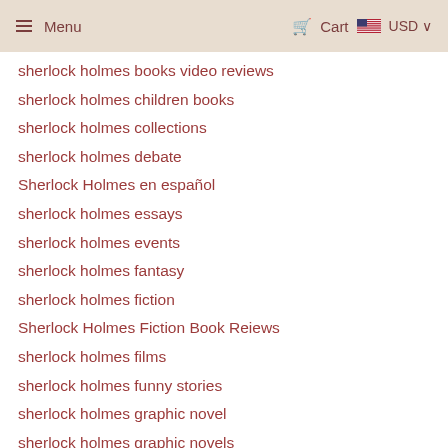Menu | Cart USD
sherlock holmes books video reviews
sherlock holmes children books
sherlock holmes collections
sherlock holmes debate
Sherlock Holmes en español
sherlock holmes essays
sherlock holmes events
sherlock holmes fantasy
sherlock holmes fiction
Sherlock Holmes Fiction Book Reiews
sherlock holmes films
sherlock holmes funny stories
sherlock holmes graphic novel
sherlock holmes graphic novels
sherlock holmes history